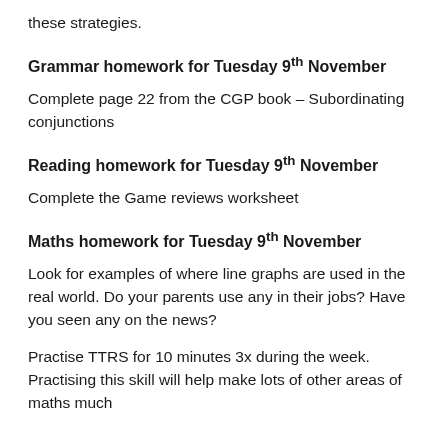these strategies.
Grammar homework for Tuesday 9th November
Complete page 22 from the CGP book – Subordinating conjunctions
Reading homework for Tuesday 9th November
Complete the Game reviews worksheet
Maths homework for Tuesday 9th November
Look for examples of where line graphs are used in the real world. Do your parents use any in their jobs? Have you seen any on the news?
Practise TTRS for 10 minutes 3x during the week. Practising this skill will help make lots of other areas of maths much